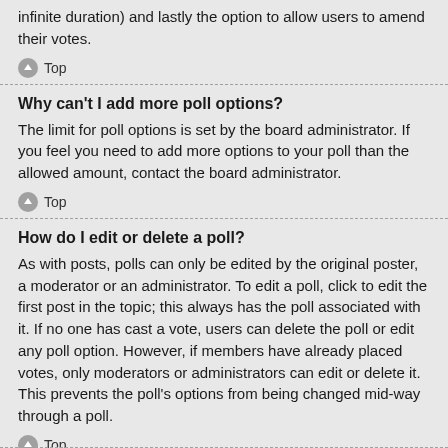infinite duration) and lastly the option to allow users to amend their votes.
Top
Why can't I add more poll options?
The limit for poll options is set by the board administrator. If you feel you need to add more options to your poll than the allowed amount, contact the board administrator.
Top
How do I edit or delete a poll?
As with posts, polls can only be edited by the original poster, a moderator or an administrator. To edit a poll, click to edit the first post in the topic; this always has the poll associated with it. If no one has cast a vote, users can delete the poll or edit any poll option. However, if members have already placed votes, only moderators or administrators can edit or delete it. This prevents the poll's options from being changed mid-way through a poll.
Top